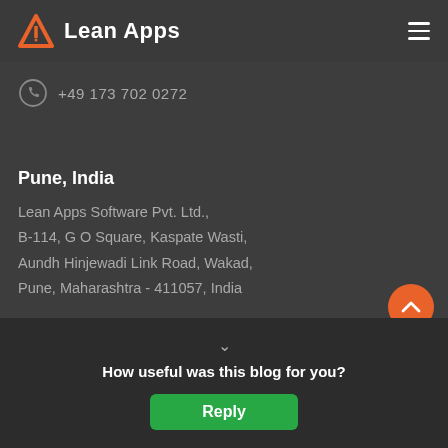Lean Apps
+49 173 702 0272
Pune, India
Lean Apps Software Pvt. Ltd.,
B-114, G O Square, Kaspate Wasti,
Aundh Hinjewadi Link Road, Wakad,
Pune, Maharashtra - 411057, India
Noida,
Lean A
How useful was this blog for you?